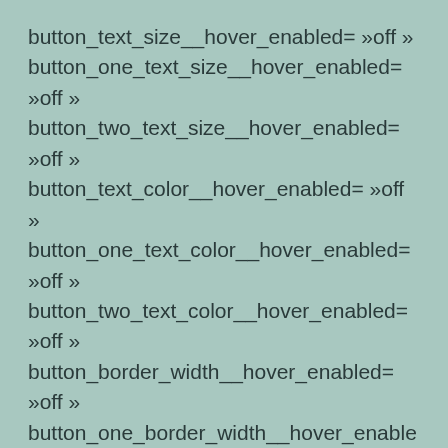button_text_size__hover_enabled= »off » button_one_text_size__hover_enabled= »off » button_two_text_size__hover_enabled= »off » button_text_color__hover_enabled= »off » button_one_text_color__hover_enabled= »off » button_two_text_color__hover_enabled= »off » button_border_width__hover_enabled= »off » button_one_border_width__hover_enabled= »off »